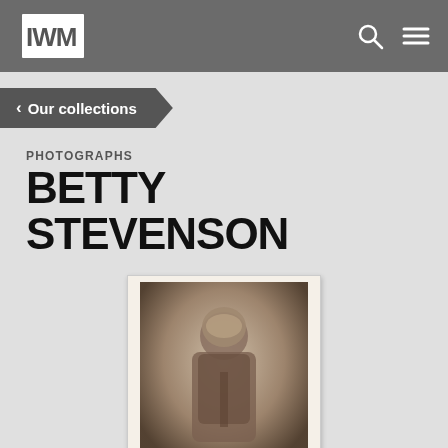IWM
< Our collections
PHOTOGRAPHS
BETTY STEVENSON
[Figure (photo): Sepia-toned portrait photograph of Betty Stevenson, a young woman wearing a hat and coat. Mounted on card with a handwritten caption beneath.]
Betty Stevenson who was killed by shrapnel from the enemy bomb while on duty in Calypso. 1914 c/o.